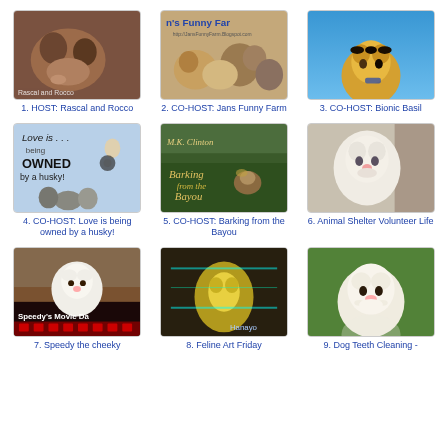[Figure (photo): Photo of two dogs - Rascal and Rocco]
1. HOST: Rascal and Rocco
[Figure (photo): Photo collage of pets - Jans Funny Farm]
2. CO-HOST: Jans Funny Farm
[Figure (photo): Photo of a cat against blue sky - Bionic Basil]
3. CO-HOST: Bionic Basil
[Figure (illustration): Illustration with text 'Love is... being OWNED by a husky!' with husky dogs]
4. CO-HOST: Love is being owned by a husky!
[Figure (photo): Photo with text 'Barking from the Bayou' - M.K. Clinton]
5. CO-HOST: Barking from the Bayou
[Figure (photo): Photo of a white cat]
6. Animal Shelter Volunteer Life
[Figure (photo): Photo of a white rabbit with text 'Speedy's Movie Day']
7. Speedy the cheeky
[Figure (photo): Photo of a cat in colorful setting - Feline Art Friday]
8. Feline Art Friday
[Figure (photo): Photo of a fluffy white dog smiling]
9. Dog Teeth Cleaning -